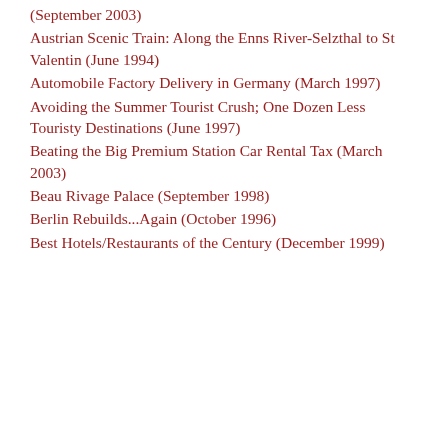(September 2003)
Austrian Scenic Train: Along the Enns River-Selzthal to St Valentin (June 1994)
Automobile Factory Delivery in Germany (March 1997)
Avoiding the Summer Tourist Crush; One Dozen Less Touristy Destinations (June 1997)
Beating the Big Premium Station Car Rental Tax (March 2003)
Beau Rivage Palace (September 1998)
Berlin Rebuilds...Again (October 1996)
Best Hotels/Restaurants of the Century (December 1999)